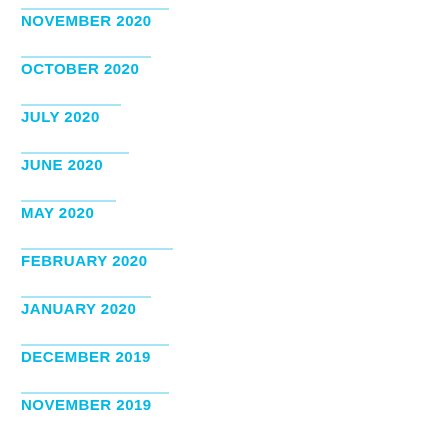NOVEMBER 2020
OCTOBER 2020
JULY 2020
JUNE 2020
MAY 2020
FEBRUARY 2020
JANUARY 2020
DECEMBER 2019
NOVEMBER 2019